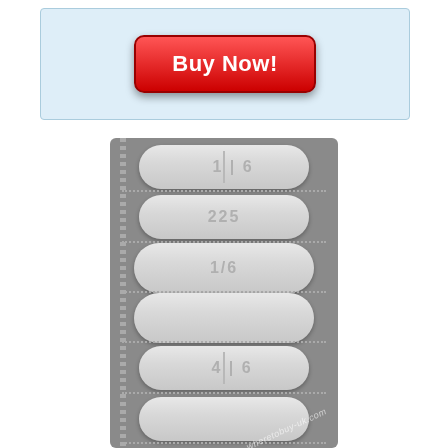[Figure (photo): Red 'Buy Now!' button on a light blue banner background]
[Figure (photo): Strip of white oval/capsule-shaped pills on a grey blister pack background, with watermark text 'wheretobuy-uk.com' overlaid diagonally. Pills show embossed markings including numbers like 225 and score lines.]